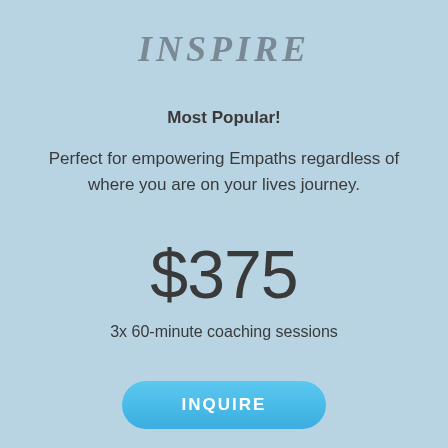INSPIRE
Most Popular!
Perfect for empowering Empaths regardless of where you are on your lives journey.
$375
3x 60-minute coaching sessions
INQUIRE